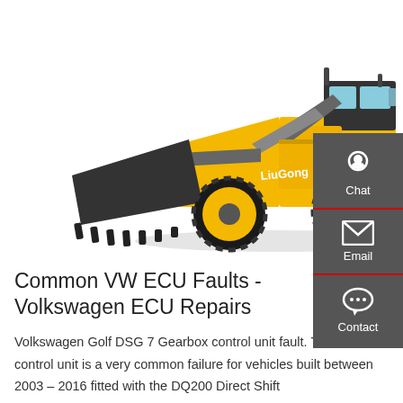[Figure (photo): A yellow LiuGong front loader / wheel loader construction vehicle with a large black bucket attachment, shown on a white background.]
Common VW ECU Faults - Volkswagen ECU Repairs
Volkswagen Golf DSG 7 Gearbox control unit fault. This DSG 7 control unit is a very common failure for vehicles built between 2003 – 2016 fitted with the DQ200 Direct Shift